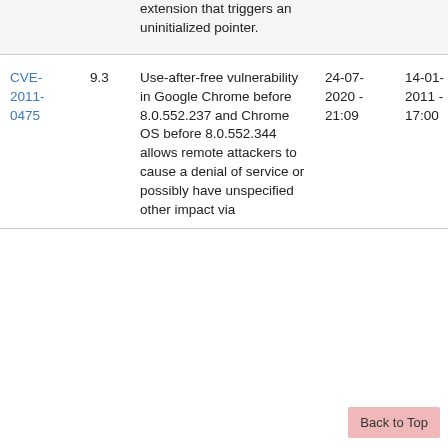| CVE | Score | Description | Date 1 | Date 2 |
| --- | --- | --- | --- | --- |
|  |  | extension that triggers an uninitialized pointer. |  |  |
| CVE-2011-0475 | 9.3 | Use-after-free vulnerability in Google Chrome before 8.0.552.237 and Chrome OS before 8.0.552.344 allows remote attackers to cause a denial of service or possibly have unspecified other impact via | 24-07-2020 - 21:09 | 14-01-2011 - 17:00 |